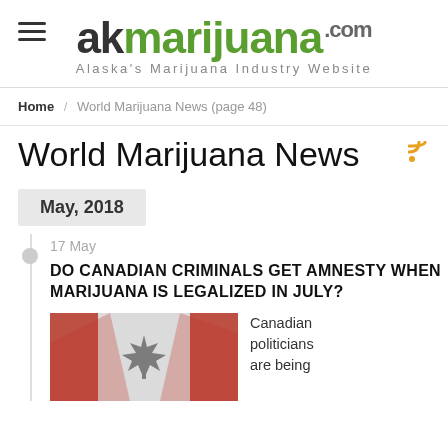akmarijuana.com — Alaska's Marijuana Industry Website
Home / World Marijuana News (page 48)
World Marijuana News
May, 2018
17 May
DO CANADIAN CRIMINALS GET AMNESTY WHEN MARIJUANA IS LEGALIZED IN JULY?
[Figure (photo): Canadian maple leaf flag with marijuana leaf overlay, black and white with red accents]
Canadian politicians are being